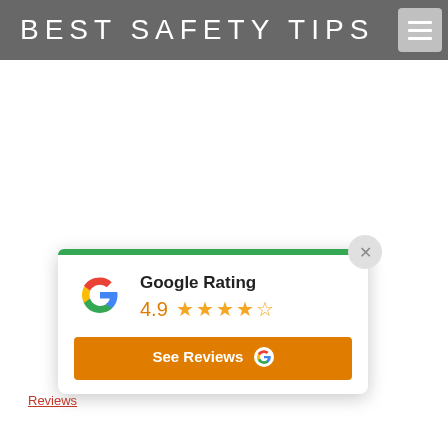BEST SAFETY TIPS
[Figure (screenshot): Google Rating widget showing 4.9 stars with a green top bar, close button (X), Google G logo, star rating display, and an orange 'See Reviews' button with Google logo.]